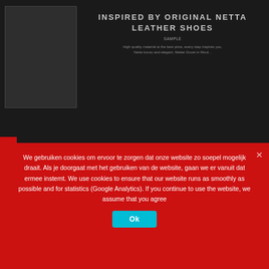[Figure (photo): Dark background website screenshot with a shoe product image on the left and text on the right]
INSPIRED BY ORIGINAL NETTA LEATHER SHOES
SAMPLE
High quality material at the best price, every step inspires you, Netta luxury and elegant, Matter Duvet in Wool...
We gebruiken cookies om ervoor te zorgen dat onze website zo soepel mogelijk draait. Als je doorgaat met het gebruiken van de website, gaan we er vanuit dat ermee instemt. We use cookies to ensure that our website runs as smoothly as possible and for statistics (Google Analytics). If you continue to use the website, we assume that you agree